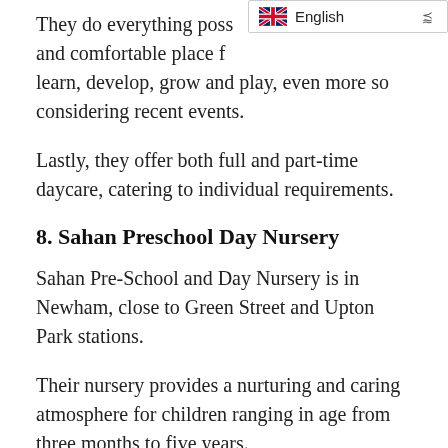They do everything possible to make a safe and comfortable place for children to learn, develop, grow and play, even more so considering recent events.
Lastly, they offer both full and part-time daycare, catering to individual requirements.
8. Sahan Preschool Day Nursery
Sahan Pre-School and Day Nursery is in Newham, close to Green Street and Upton Park stations.
Their nursery provides a nurturing and caring atmosphere for children ranging in age from three months to five years.
Their nursery centre is also vast and well-